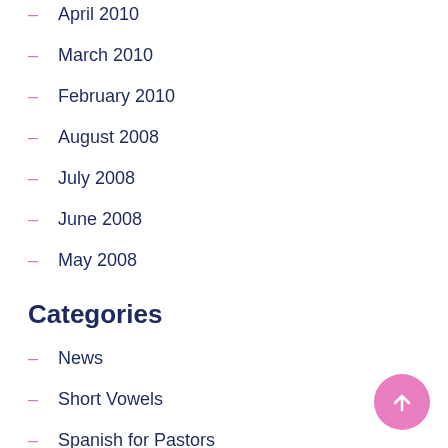April 2010
March 2010
February 2010
August 2008
July 2008
June 2008
May 2008
Categories
News
Short Vowels
Spanish for Pastors